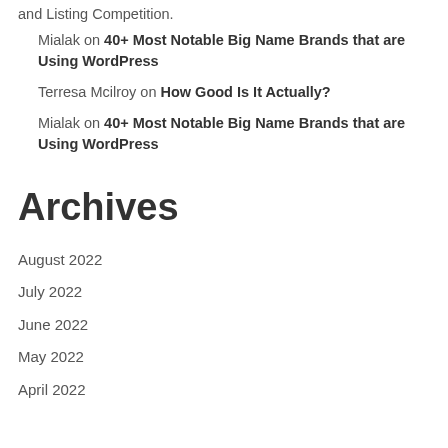and Listing Competition.
Mialak on 40+ Most Notable Big Name Brands that are Using WordPress
Terresa Mcilroy on How Good Is It Actually?
Mialak on 40+ Most Notable Big Name Brands that are Using WordPress
Archives
August 2022
July 2022
June 2022
May 2022
April 2022